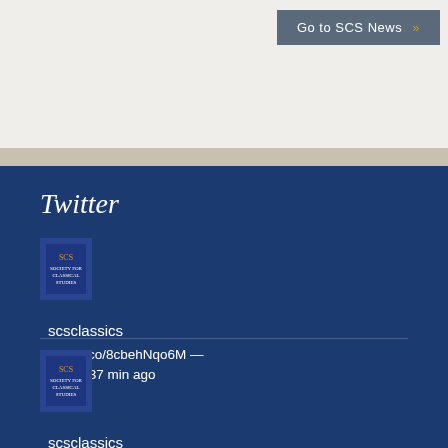[Figure (screenshot): Go to SCS News button with chevron arrows on grey background]
Twitter
[Figure (logo): Society for Classical Studies avatar - blue book cover logo]
scsclassics
https://t.co/8cbehNqo6M — 9 hours 37 min ago
[Figure (logo): Society for Classical Studies avatar - blue book cover logo]
scsclassics
May 2015, an olive grove near Pylos: the spectacular discovery of the "Griffin Warrior" tomb. Its numerous artifact...